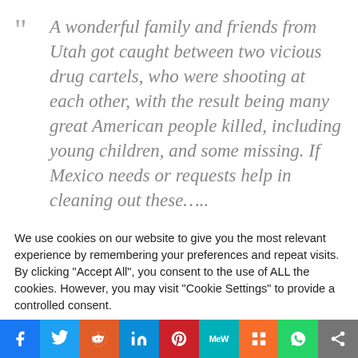A wonderful family and friends from Utah got caught between two vicious drug cartels, who were shooting at each other, with the result being many great American people killed, including young children, and some missing. If Mexico needs or requests help in cleaning out these…..
We use cookies on our website to give you the most relevant experience by remembering your preferences and repeat visits. By clicking "Accept All", you consent to the use of ALL the cookies. However, you may visit "Cookie Settings" to provide a controlled consent.
Cookie Settings | Accept All
[Figure (other): Social media sharing bar with icons for Facebook, Twitter, Reddit, LinkedIn, Pinterest, MeWe, Mix, WhatsApp, and Share]